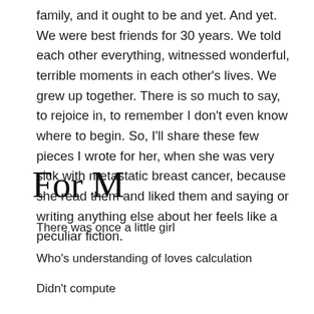family, and it ought to be and yet. And yet. We were best friends for 30 years. We told each other everything, witnessed wonderful, terrible moments in each other's lives. We grew up together. There is so much to say, to rejoice in, to remember I don't even know where to begin. So, I'll share these few pieces I wrote for her, when she was very sick with metastatic breast cancer, because she read them and liked them and saying or writing anything else about her feels like a peculiar fiction.
For M
There was once a little girl

Who's understanding of loves calculation

Didn't compute